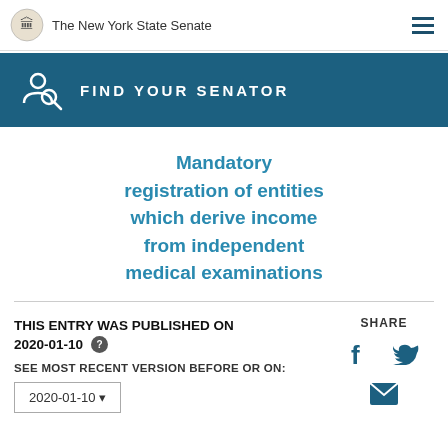The New York State Senate
[Figure (infographic): Find Your Senator banner with person search icon]
Mandatory registration of entities which derive income from independent medical examinations
THIS ENTRY WAS PUBLISHED ON 2020-01-10
SEE MOST RECENT VERSION BEFORE OR ON:
2020-01-10
SHARE